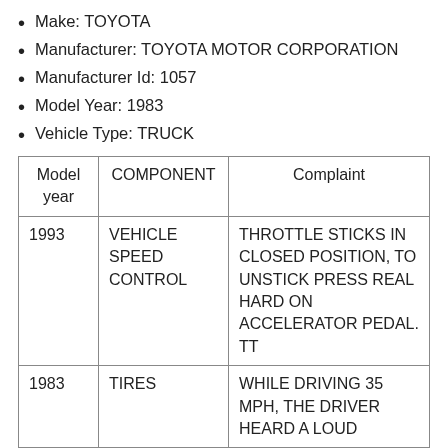Make: TOYOTA
Manufacturer: TOYOTA MOTOR CORPORATION
Manufacturer Id: 1057
Model Year: 1983
Vehicle Type: TRUCK
| Model year | COMPONENT | Complaint |
| --- | --- | --- |
| 1993 | VEHICLE SPEED CONTROL | THROTTLE STICKS IN CLOSED POSITION, TO UNSTICK PRESS REAL HARD ON ACCELERATOR PEDAL. TT |
| 1983 | TIRES | WHILE DRIVING 35 MPH, THE DRIVER HEARD A LOUD |